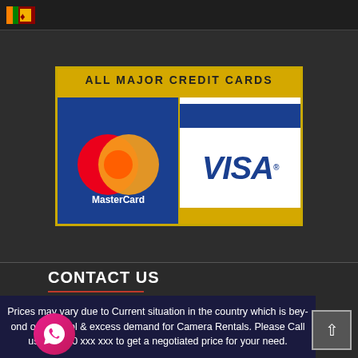[Figure (logo): Sri Lanka flag icon in top bar]
[Figure (illustration): Credit card acceptance banner showing MasterCard and VISA logos with gold border and text ALL MAJOR CREDIT CARDS]
CONTACT US
Eke Kanuwa, Kapuwagara Road, Kandana.
[Figure (logo): WhatsApp logo pink/magenta circular button]
info@shercamera.lk
Prices may vary due to Current situation in the country which is beyond our control & excess demand for Camera Rentals. Please Call us on 0720 xxx xxx to get a negotiated price for your need.